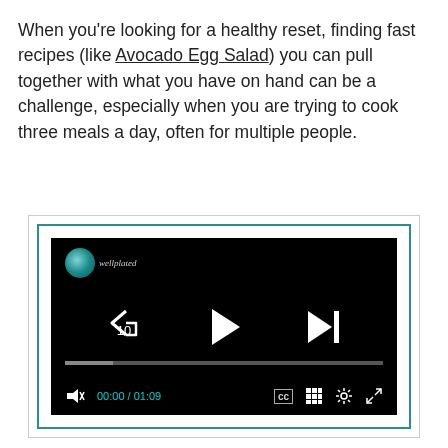When you're looking for a healthy reset, finding fast recipes (like Avocado Egg Salad) you can pull together with what you have on hand can be a challenge, especially when you are trying to cook three meals a day, often for multiple people.
[Figure (screenshot): Embedded video player with black background showing playback controls: rewind 10 seconds button, play button, skip forward button, progress bar, timestamp 00:00 / 01:09, CC button, grid/chapters button, settings gear, and fullscreen button. A teal logo watermark appears in the top left.]